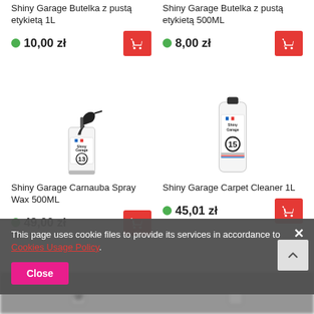Shiny Garage Butelka z pustą etykietą 1L
10,00 zł
Shiny Garage Butelka z pustą etykietą 500ML
8,00 zł
[Figure (photo): Shiny Garage product #13 spray bottle (Carnauba Spray Wax 500ML)]
Shiny Garage Carnauba Spray Wax 500ML
49,00 zł
[Figure (photo): Shiny Garage product #15 bottle (Carpet Cleaner 1L)]
Shiny Garage Carpet Cleaner 1L
45,01 zł
This page uses cookie files to provide its services in accordance to Cookies Usage Policy.
Close